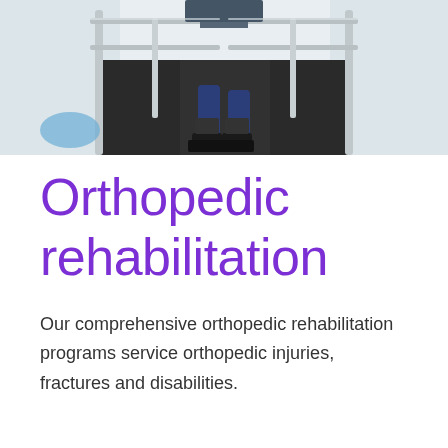[Figure (photo): Overhead view of a patient walking on a treadmill or parallel bars rehabilitation walkway with metal handrails, wearing specialized leg/ankle devices, in a clinical rehabilitation facility with white walls.]
Orthopedic rehabilitation
Our comprehensive orthopedic rehabilitation programs service orthopedic injuries, fractures and disabilities.